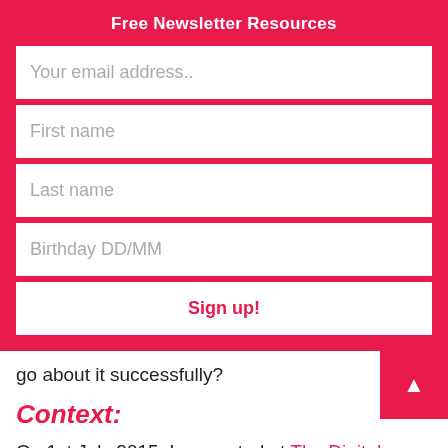Free Newsletter Resources
Your email address..
First name
Last name
Birthday DD/MM
Sign up!
go about it successfully?
Context:
On 1st July 2015, I presented at The Digital Education Show (UK). In my k… what has
Our Privacy and Cookies Policy